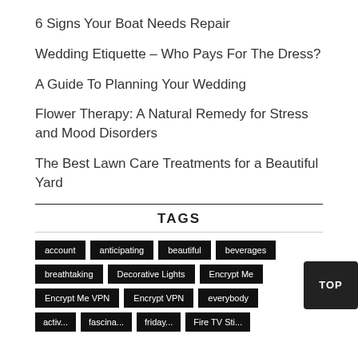6 Signs Your Boat Needs Repair
Wedding Etiquette – Who Pays For The Dress?
A Guide To Planning Your Wedding
Flower Therapy: A Natural Remedy for Stress and Mood Disorders
The Best Lawn Care Treatments for a Beautiful Yard
TAGS
account
anticipating
beautiful
beverages
breathtaking
Decorative Lights
Encrypt Me
Encrypt Me VPN
Encrypt VPN
everybody